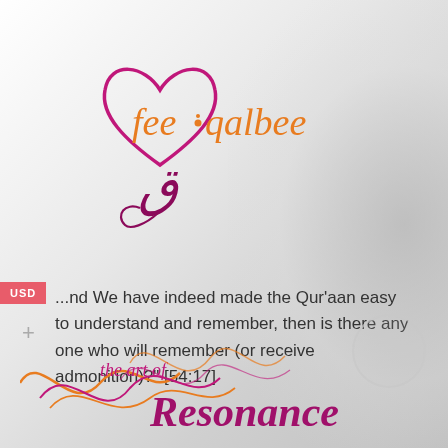[Figure (logo): fee qalbee logo — stylized cursive orange text 'fee qalbee' with a pink/magenta heart outline and Arabic letter qaf underneath]
USD
...nd We have indeed made the Qur'aan easy to understand and remember, then is there any one who will remember (or receive admonition)?" [54:17]
[Figure (logo): the art of Resonance — cursive magenta and orange logo with sound-wave / waveform graphic in orange and magenta]